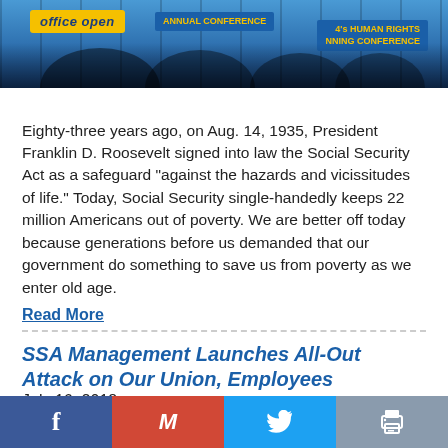[Figure (photo): Protesters at a conference holding signs, one yellow sign with blue text partially visible reading 'office open', another blue sign, and a sign on the right related to a conference]
Eighty-three years ago, on Aug. 14, 1935, President Franklin D. Roosevelt signed into law the Social Security Act as a safeguard "against the hazards and vicissitudes of life." Today, Social Security single-handedly keeps 22 million Americans out of poverty. We are better off today because generations before us demanded that our government do something to save us from poverty as we enter old age.
Read More
SSA Management Launches All-Out Attack on Our Union, Employees
July 16, 2018
[Figure (photo): Partial view of a crowd of people, bottom portion cut off by share bar]
Social share bar with Facebook, Gmail, Twitter, and Print buttons